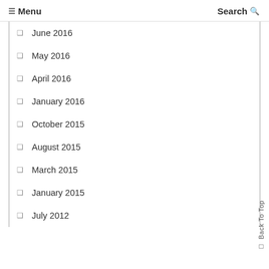☰ Menu   Search 🔍
June 2016
May 2016
April 2016
January 2016
October 2015
August 2015
March 2015
January 2015
July 2012